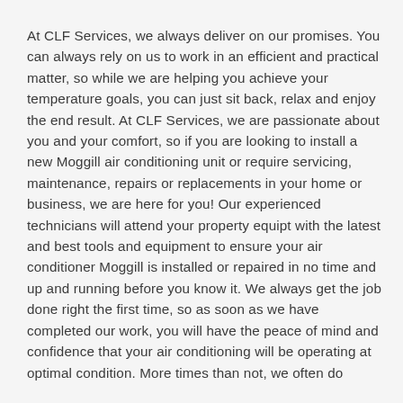At CLF Services, we always deliver on our promises. You can always rely on us to work in an efficient and practical matter, so while we are helping you achieve your temperature goals, you can just sit back, relax and enjoy the end result. At CLF Services, we are passionate about you and your comfort, so if you are looking to install a new Moggill air conditioning unit or require servicing, maintenance, repairs or replacements in your home or business, we are here for you! Our experienced technicians will attend your property equipt with the latest and best tools and equipment to ensure your air conditioner Moggill is installed or repaired in no time and up and running before you know it. We always get the job done right the first time, so as soon as we have completed our work, you will have the peace of mind and confidence that your air conditioning will be operating at optimal condition. More times than not, we often do